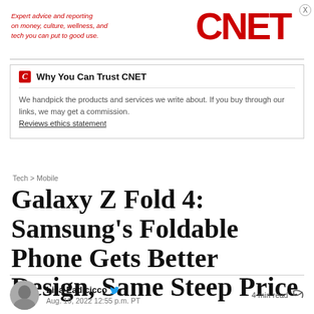Expert advice and reporting on money, culture, wellness, and tech you can put to good use. CNET
Why You Can Trust CNET
We handpick the products and services we write about. If you buy through our links, we may get a commission.
Reviews ethics statement
Tech > Mobile
Galaxy Z Fold 4: Samsung's Foldable Phone Gets Better Design, Same Steep Price
Lisa Eadicicco
Aug. 19, 2022 12:55 p.m. PT
4 min read